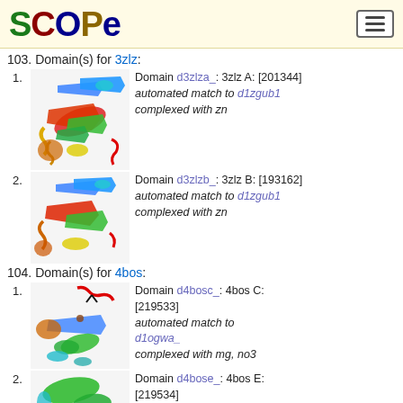[Figure (logo): SCOPe logo with colored letters S(green), C(dark red), O(dark blue), P(brown/gold), e(dark blue)]
103. Domain(s) for 3zlz:
1. Domain d3zlza_: 3zlz A: [201344] automated match to d1zgub1 complexed with zn
[Figure (illustration): Protein structure ribbon diagram for 3zlz domain A, rainbow colored]
2. Domain d3zlzb_: 3zlz B: [193162] automated match to d1zgub1 complexed with zn
[Figure (illustration): Protein structure ribbon diagram for 3zlz domain B, rainbow colored]
104. Domain(s) for 4bos:
1. Domain d4bosc_: 4bos C: [219533] automated match to d1ogwa_ complexed with mg, no3
[Figure (illustration): Protein structure ribbon diagram for 4bos domain C, rainbow colored]
2. Domain d4bose_: 4bos E: [219534]
[Figure (illustration): Protein structure ribbon diagram for 4bos domain E, green colored (partial)]